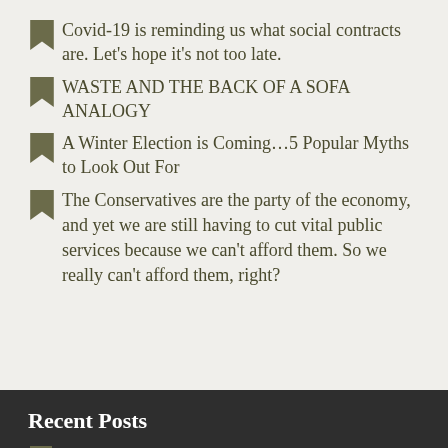Covid-19 is reminding us what social contracts are. Let's hope it's not too late.
WASTE AND THE BACK OF A SOFA ANALOGY
A Winter Election is Coming…5 Popular Myths to Look Out For
The Conservatives are the party of the economy, and yet we are still having to cut vital public services because we can't afford them. So we really can't afford them, right?
Recent Posts
'Intersectionality' is a meaningless, harmful academic idea. 'Context' is the rational version